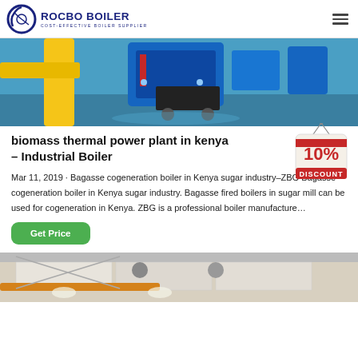ROCBO BOILER – COST-EFFECTIVE BOILER SUPPLIER
[Figure (photo): Industrial boiler equipment with yellow and blue pipes and machinery]
biomass thermal power plant in kenya – Industrial Boiler
[Figure (infographic): 10% DISCOUNT badge/tag graphic]
Mar 11, 2019 · Bagasse cogeneration boiler in Kenya sugar industry–ZBG Bagasse cogeneration boiler in Kenya sugar industry. Bagasse fired boilers in sugar mill can be used for cogeneration in Kenya. ZBG is a professional boiler manufacture…
[Figure (photo): Industrial facility interior showing pipes and ceiling structure]